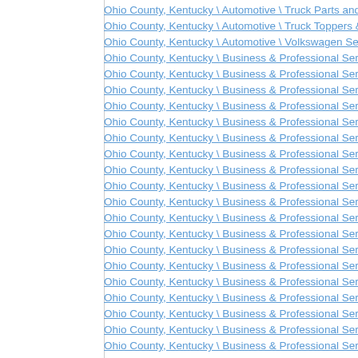Ohio County, Kentucky \ Automotive \ Truck Parts and Repair
Ohio County, Kentucky \ Automotive \ Truck Toppers & Canopy
Ohio County, Kentucky \ Automotive \ Volkswagen Service and Repair
Ohio County, Kentucky \ Business & Professional Services \ Advertising
Ohio County, Kentucky \ Business & Professional Services \ Answering
Ohio County, Kentucky \ Business & Professional Services \ Appraisers
Ohio County, Kentucky \ Business & Professional Services \ Auctioneer
Ohio County, Kentucky \ Business & Professional Services \ Audiovisual
Ohio County, Kentucky \ Business & Professional Services \ Banner & S
Ohio County, Kentucky \ Business & Professional Services \ Branding a
Ohio County, Kentucky \ Business & Professional Services \ Business B
Ohio County, Kentucky \ Business & Professional Services \ Business C
Ohio County, Kentucky \ Business & Professional Services \ Business P
Ohio County, Kentucky \ Business & Professional Services \ Business O
Ohio County, Kentucky \ Business & Professional Services \ Career & V
Ohio County, Kentucky \ Business & Professional Services \ Commercia
Ohio County, Kentucky \ Business & Professional Services \ Commercia
Ohio County, Kentucky \ Business & Professional Services \ Concierge
Ohio County, Kentucky \ Business & Professional Services \ Copy Editi
Ohio County, Kentucky \ Business & Professional Services \ Coupon M
Ohio County, Kentucky \ Business & Professional Services \ Digital Ima
Ohio County, Kentucky \ Business & Professional Services \ Direct Mail
Ohio County, Kentucky \ Business & Professional Services \ Direct Mail